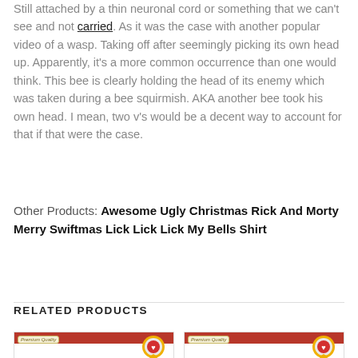Still attached by a thin neuronal cord or something that we can't see and not carried. As it was the case with another popular video of a wasp. Taking off after seemingly picking its own head up. Apparently, it's a more common occurrence than one would think. This bee is clearly holding the head of its enemy which was taken during a bee squirmish. AKA another bee took his own head. I mean, two v's would be a decent way to account for that if that were the case.
Other Products: Awesome Ugly Christmas Rick And Morty Merry Swiftmas Lick Lick Lick My Bells Shirt
RELATED PRODUCTS
[Figure (photo): Product card showing a white t-shirt with 'LUCKY BOWLING SHIRT' text, red SALE banner at bottom, Premium Quality badge top-left, ribbon badge top-right]
[Figure (photo): Product card showing a white t-shirt with 'EVER HEAR ABOUT THE QUILTER THAT HAD' text, red SALE banner at bottom, Premium Quality badge top-left, ribbon badge top-right]